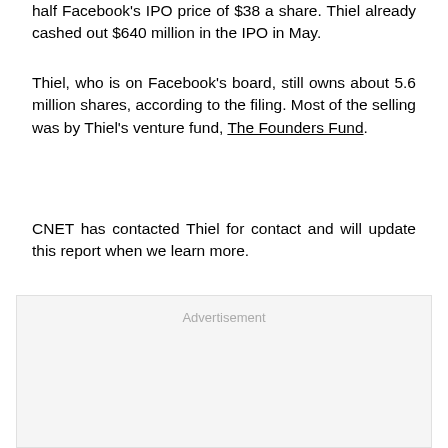half Facebook's IPO price of $38 a share. Thiel already cashed out $640 million in the IPO in May.
Thiel, who is on Facebook's board, still owns about 5.6 million shares, according to the filing. Most of the selling was by Thiel's venture fund, The Founders Fund.
CNET has contacted Thiel for contact and will update this report when we learn more.
[Figure (other): Advertisement placeholder box]